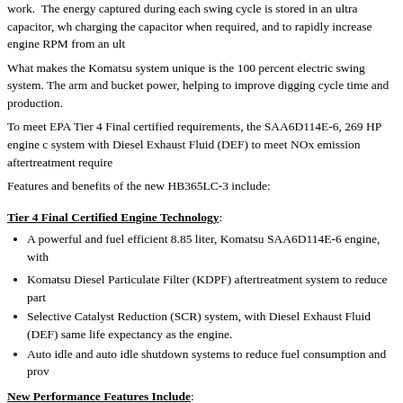work. The energy captured during each swing cycle is stored in an ultra capacitor, wh charging the capacitor when required, and to rapidly increase engine RPM from an ult
What makes the Komatsu system unique is the 100 percent electric swing system. The arm and bucket power, helping to improve digging cycle time and production.
To meet EPA Tier 4 Final certified requirements, the SAA6D114E-6, 269 HP engine c system with Diesel Exhaust Fluid (DEF) to meet NOx emission aftertreatment require
Features and benefits of the new HB365LC-3 include:
Tier 4 Final Certified Engine Technology:
A powerful and fuel efficient 8.85 liter, Komatsu SAA6D114E-6 engine, with
Komatsu Diesel Particulate Filter (KDPF) aftertreatment system to reduce part
Selective Catalyst Reduction (SCR) system, with Diesel Exhaust Fluid (DEF) same life expectancy as the engine.
Auto idle and auto idle shutdown systems to reduce fuel consumption and prov
New Performance Features Include:
The revolutionary Komatsu Hybrid System, using swing energy regeneration a
Special hybrid control logic helps increase boom up and arm out multifunction
New temperature-controlled viscous fan clutch helps reduce parasitic load on t
New KOMTRAX 5.0, shown on a large, 7-inch color screen, relays vital mach
New Operator ID system records KOMTRAX machine operation and applicat
Six working modes (P, E, L, B, Att-P, Att-E,) provide a wide range of performa
Optional auxiliary hydraulic attachment circuit, with return filter, accumulator